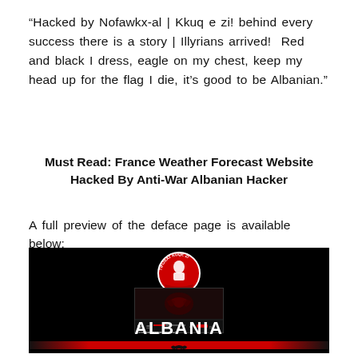“Hacked by Nofawkx-al | Kkuq e zi! behind every success there is a story | Illyrians arrived!  Red and black I dress, eagle on my chest, keep my head up for the flag I die, it’s good to be Albanian.”
Must Read: France Weather Forecast Website Hacked By Anti-War Albanian Hacker
A full preview of the deface page is available below:
[Figure (screenshot): Screenshot of defaced website showing black background with circular Albanian logo at top, a video thumbnail with dark red Albanian eagle, video player controls, large 'ALBANIA' text in white, and a red decorative bar with eagle emblem at bottom.]